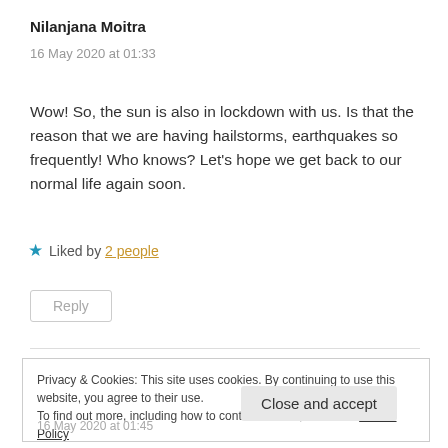Nilanjana Moitra
16 May 2020 at 01:33
Wow! So, the sun is also in lockdown with us. Is that the reason that we are having hailstorms, earthquakes so frequently! Who knows? Let's hope we get back to our normal life again soon.
★ Liked by 2 people
Reply
Privacy & Cookies: This site uses cookies. By continuing to use this website, you agree to their use.
To find out more, including how to control cookies, see here: Cookie Policy
Close and accept
16 May 2020 at 01:45